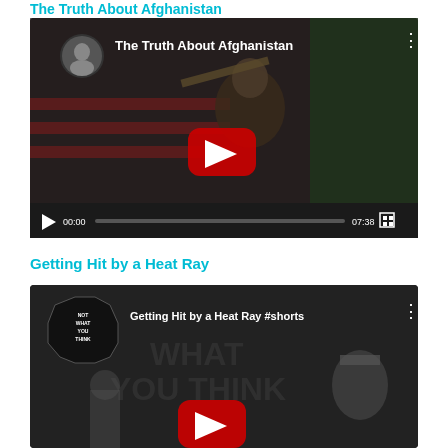The Truth About Afghanistan
[Figure (screenshot): YouTube video player showing 'The Truth About Afghanistan' video thumbnail with a soldier holding a weapon against American and Afghan flags. Video duration 07:38, at timestamp 00:00.]
Getting Hit by a Heat Ray
[Figure (screenshot): YouTube video player showing 'Getting Hit by a Heat Ray #shorts' video thumbnail with 'Not What You Think' channel logo and a heat ray device visible.]